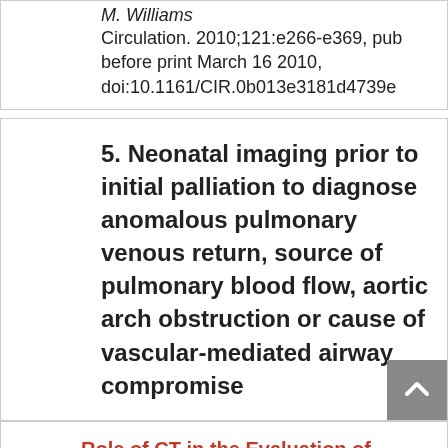M. Williams
Circulation. 2010;121:e266-e369, published before print March 16 2010, doi:10.1161/CIR.0b013e3181d4739e
5. Neonatal imaging prior to initial palliation to diagnose anomalous pulmonary venous return, source of pulmonary blood flow, aortic arch obstruction or cause of vascular-mediated airway compromise
Role of CT in the Evaluation of Congenital Cardiovascular Disease in Children
Jonathan R. Dillman and Ramiro J. Hernandez